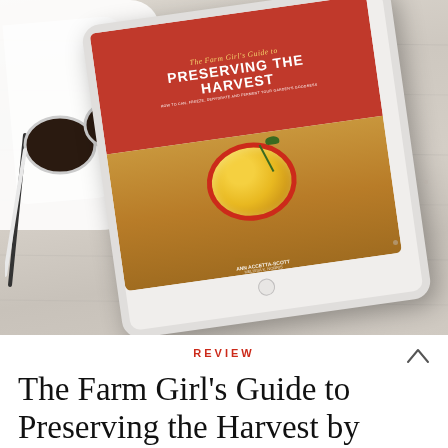[Figure (photo): A tablet/iPad displaying the book cover of 'The Farm Girl's Guide to Preserving the Harvest' by Ann Accetta-Scott, lying on a white wooden surface alongside sunglasses and a white cloth/fabric.]
REVIEW
The Farm Girl's Guide to Preserving the Harvest by